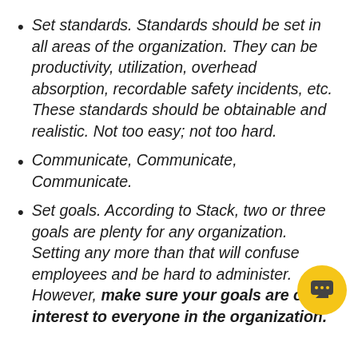Set standards. Standards should be set in all areas of the organization. They can be productivity, utilization, overhead absorption, recordable safety incidents, etc. These standards should be obtainable and realistic. Not too easy; not too hard.
Communicate, Communicate, Communicate.
Set goals. According to Stack, two or three goals are plenty for any organization. Setting any more than that will confuse employees and be hard to administer. However, make sure your goals are of interest to everyone in the organization.